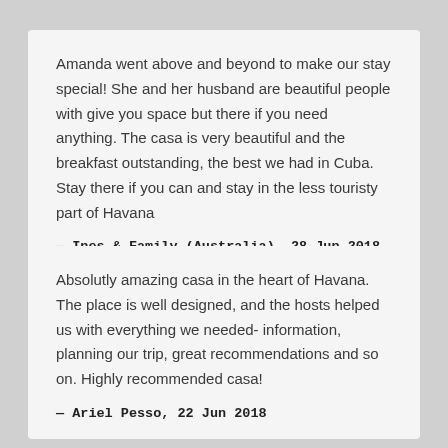Amanda went above and beyond to make our stay special! She and her husband are beautiful people with give you space but there if you need anything. The casa is very beautiful and the breakfast outstanding, the best we had in Cuba. Stay there if you can and stay in the less touristy part of Havana
— Ines & Family (Australia), 28 Jun 2018
Absolutly amazing casa in the heart of Havana. The place is well designed, and the hosts helped us with everything we needed- information, planning our trip, great recommendations and so on. Highly recommended casa!
— Ariel Pesso, 22 Jun 2018